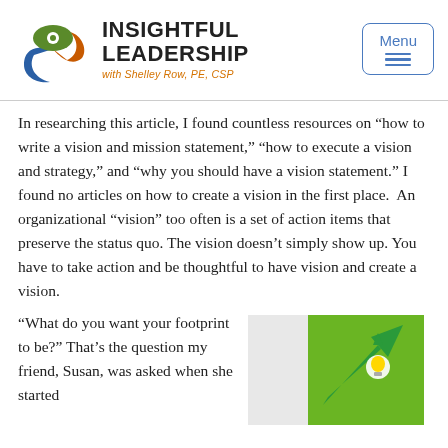[Figure (logo): Insightful Leadership logo with circular icon showing a green eye, blue and orange swoosh shapes, and the text 'INSIGHTFUL LEADERSHIP with Shelley Row, PE, CSP' next to it, and a Menu button on the right]
In researching this article, I found countless resources on “how to write a vision and mission statement,” “how to execute a vision and strategy,” and “why you should have a vision statement.” I found no articles on how to create a vision in the first place.  An organizational “vision” too often is a set of action items that preserve the status quo. The vision doesn’t simply show up. You have to take action and be thoughtful to have vision and create a vision.
“What do you want your footprint to be?” That’s the question my friend, Susan, was asked when she started
[Figure (illustration): Green background illustration showing a figure with a light bulb head and an upward-pointing arrow, representing growth or vision]